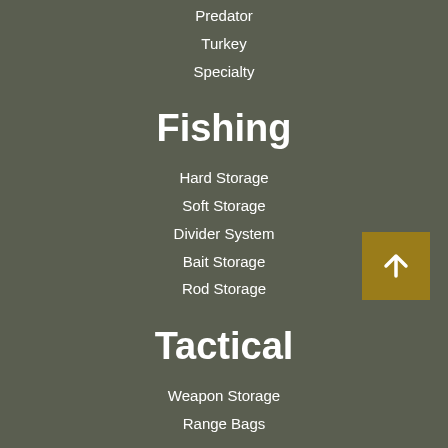Predator
Turkey
Specialty
Fishing
Hard Storage
Soft Storage
Divider System
Bait Storage
Rod Storage
Tactical
Weapon Storage
Range Bags
Terms of Use
Terms of Sale
Privacy Policy
Return Policy
Contact Us
FAQs